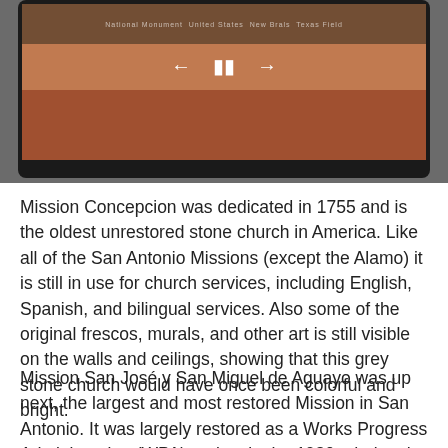[Figure (screenshot): Video player screenshot showing a stone mission building exterior with terracotta ground. The player has a dark frame with playback controls (back, pause, forward arrows) visible in the middle of the frame.]
Mission Concepcion was dedicated in 1755 and is the oldest unrestored stone church in America. Like all of the San Antonio Missions (except the Alamo) it is still in use for church services, including English, Spanish, and bilingual services. Also some of the original frescos, murals, and other art is still visible on the walls and ceilings, showing that this grey stone church would have once been colorful and bright.
Mission San José y San Miguel de Aguayo was up next, the largest and most restored Mission in San Antonio. It was largely restored as a Works Progress Administration (WPA) project in the 1930s during the Great Depression. Founded